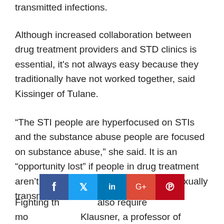transmitted infections.
Although increased collaboration between drug treatment providers and STD clinics is essential, it's not always easy because they traditionally have not worked together, said Kissinger of Tulane.
“The STI people are hyperfocused on STIs and the substance abuse people are focused on substance abuse,” she said. It is an “opportunity lost” if people in drug treatment aren’t screened for syphilis and other sexually transmitted infections, she added.
Fighting th... also require mo... Klausner, a professor of medicine and public health at UCLA
[Figure (other): Social share bar with Facebook, Twitter, LinkedIn, Google+, and Pinterest buttons]